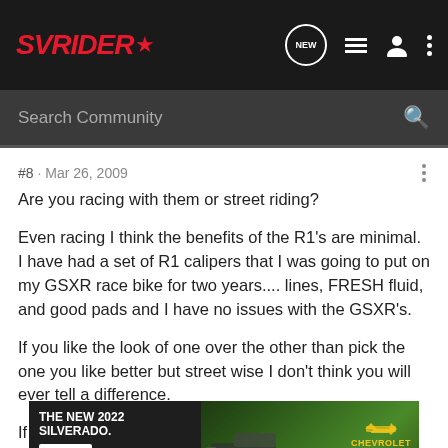SVRIDER (logo) — navigation bar with NEW, list, user, more icons
Search Community
#8 · Mar 26, 2009
Are you racing with them or street riding?

Even racing I think the benefits of the R1's are minimal. I have had a set of R1 calipers that I was going to put on my GSXR race bike for two years.... lines, FRESH fluid, and good pads and I have no issues with the GSXR's.

If you like the look of one over the other than pick the one you like better but street wise I don't think you will ever tell a difference.

If you do... [ad covers text] ...et I will part with [ad covers text]
[Figure (screenshot): Chevrolet Silverado 2022 advertisement banner showing 'THE NEW 2022 SILVERADO.' text with Explore button, overlaid on truck image with Chevrolet logo]